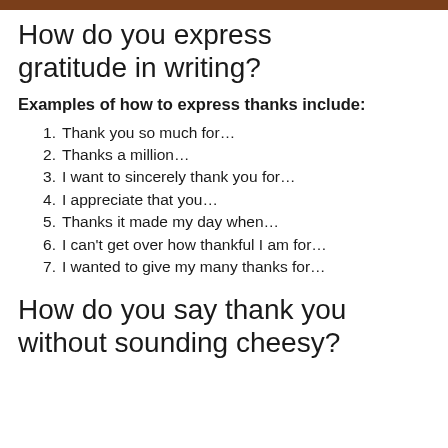How do you express gratitude in writing?
Examples of how to express thanks include:
Thank you so much for…
Thanks a million…
I want to sincerely thank you for…
I appreciate that you…
Thanks it made my day when…
I can't get over how thankful I am for…
I wanted to give my many thanks for…
How do you say thank you without sounding cheesy?